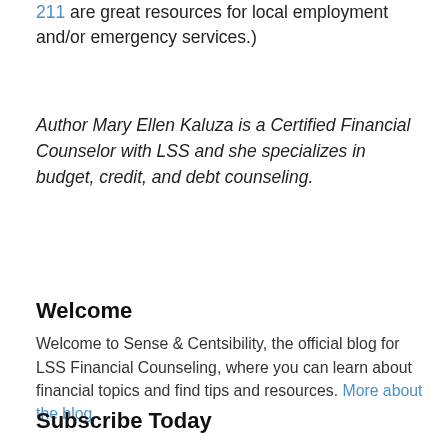211 are great resources for local employment and/or emergency services.)
Author Mary Ellen Kaluza is a Certified Financial Counselor with LSS and she specializes in budget, credit, and debt counseling.
Welcome
Welcome to Sense & Centsibility, the official blog for LSS Financial Counseling, where you can learn about financial topics and find tips and resources. More about the blog.
Subscribe Today